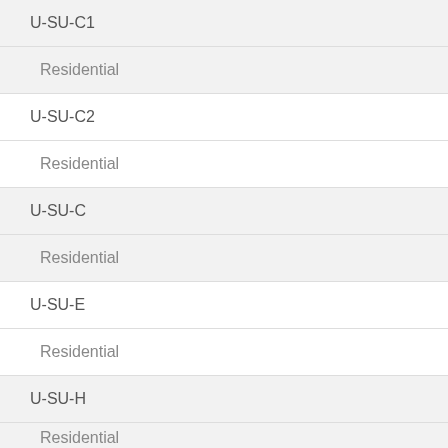U-SU-C1
Residential
U-SU-C2
Residential
U-SU-C
Residential
U-SU-E
Residential
U-SU-H
Residential